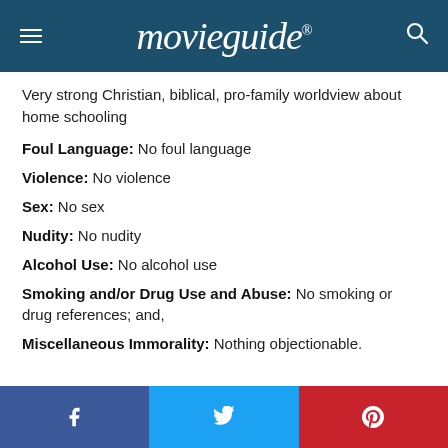movieguide®
Very strong Christian, biblical, pro-family worldview about home schooling
Foul Language: No foul language
Violence: No violence
Sex: No sex
Nudity: No nudity
Alcohol Use: No alcohol use
Smoking and/or Drug Use and Abuse: No smoking or drug references; and,
Miscellaneous Immorality: Nothing objectionable.